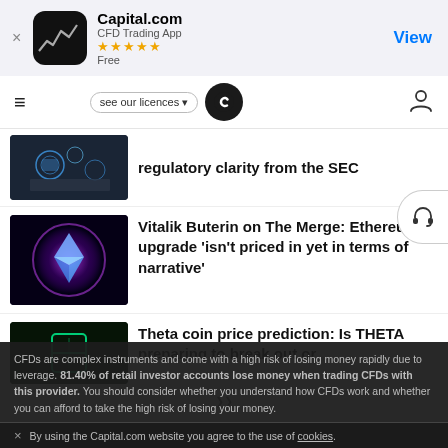[Figure (screenshot): Capital.com app banner with icon, star rating, and View button]
Capital.com – CFD Trading App navigation bar with hamburger menu, logo, licences button, and user icon
regulatory clarity from the SEC
[Figure (photo): Keyboard with digital icons overlay]
Vitalik Buterin on The Merge: Ethereum upgrade 'isn't priced in yet in terms of narrative'
[Figure (photo): Ethereum coin logo with purple glow]
Theta coin price prediction: Is THETA preparing to break out or
[Figure (photo): Theta coin dark background]
CFDs are complex instruments and come with a high risk of losing money rapidly due to leverage. 81.40% of retail investor accounts lose money when trading CFDs with this provider. You should consider whether you understand how CFDs work and whether you can afford to take the high risk of losing your money.
By using the Capital.com website you agree to the use of cookies.